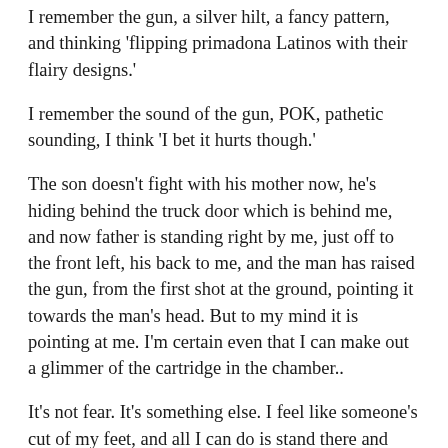I remember the gun, a silver hilt, a fancy pattern, and thinking 'flipping primadona Latinos with their flairy designs.'
I remember the sound of the gun, POK, pathetic sounding, I think 'I bet it hurts though.'
The son doesn't fight with his mother now, he's hiding behind the truck door which is behind me, and now father is standing right by me, just off to the front left, his back to me, and the man has raised the gun, from the first shot at the ground, pointing it towards the man's head. But to my mind it is pointing at me. I'm certain even that I can make out a glimmer of the cartridge in the chamber..
It's not fear. It's something else. I feel like someone's cut of my feet, and all I can do is stand there and watch my blood drain rapidly down into the ground, leaving my face light white and your brain high and dry. It's realisation.  You have no options and soon you might be dead.
But somewhere my brain sees a window of opportunity, it's narrow and dusty and I'm thinking 'what are you doing?!' as I push down into first and kick out the...